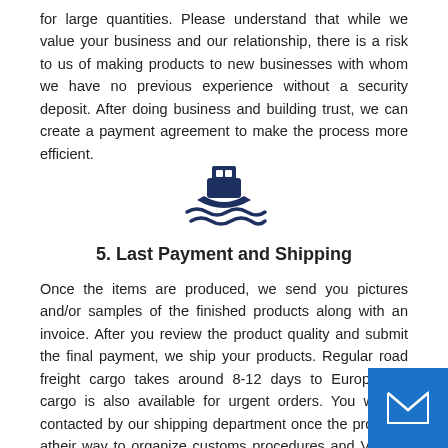for large quantities. Please understand that while we value your business and our relationship, there is a risk to us of making products to new businesses with whom we have no previous experience without a security deposit. After doing business and building trust, we can create a payment agreement to make the process more efficient.
[Figure (illustration): Dark blue boat/ship icon on water waves, serving as a section divider icon]
5. Last Payment and Shipping
Once the items are produced, we send you pictures and/or samples of the finished products along with an invoice. After you review the product quality and submit the final payment, we ship your products. Regular road freight cargo takes around 8-12 days to Europe. Air cargo is also available for urgent orders. You will be contacted by our shipping department once the products are on their way to organize customs procedures and VAT payments. After your shipment is cleared at customs, your products will be delivered to your address in several days.